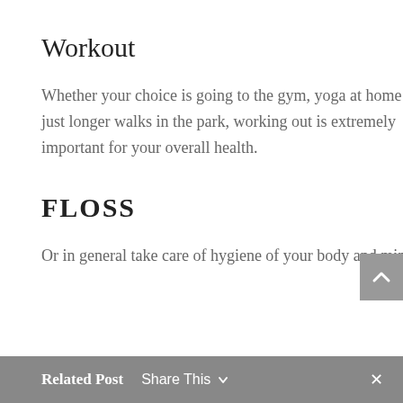Workout
Whether your choice is going to the gym, yoga at home or just longer walks in the park, working out is extremely important for your overall health.
FLOSS
Or in general take care of hygiene of your body and mind.
Related Post  Share This  ×